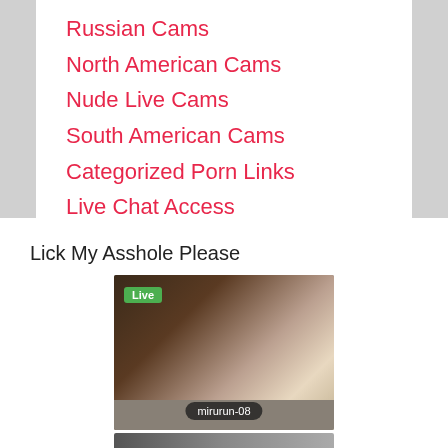Russian Cams
North American Cams
Nude Live Cams
South American Cams
Categorized Porn Links
Live Chat Access
Lick My Asshole Please
[Figure (photo): Live cam thumbnail showing a person in a room, with a green 'Live' badge in the top-left and username 'mirurun-08' displayed at the bottom in a dark pill badge.]